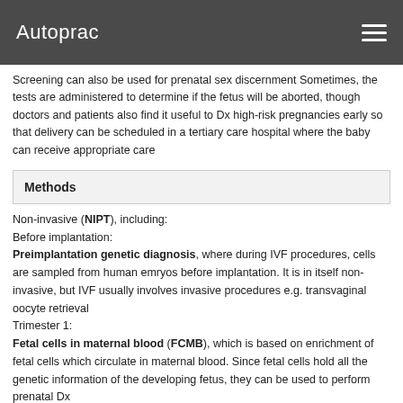Autoprac
Screening can also be used for prenatal sex discernment Sometimes, the tests are administered to determine if the fetus will be aborted, though doctors and patients also find it useful to Dx high-risk pregnancies early so that delivery can be scheduled in a tertiary care hospital where the baby can receive appropriate care
| Methods |
| --- |
Non-invasive (NIPT), including:
Before implantation:
Preimplantation genetic diagnosis, where during IVF procedures, cells are sampled from human emryos before implantation. It is in itself non-invasive, but IVF usually involves invasive procedures e.g. transvaginal oocyte retrieval
Trimester 1:
Fetal cells in maternal blood (FCMB), which is based on enrichment of fetal cells which circulate in maternal blood. Since fetal cells hold all the genetic information of the developing fetus, they can be used to perform prenatal Dx
Cell-free fetal DNA in maternal blood, which is based on DNA of fetal origin circulating in the maternal blood. Testing can potentially identify fetal aneuploidy, and gender of a fetus as early as 6 weeks into a pregnancy. Fetal DNA ranges from about 2-10% of total DNA